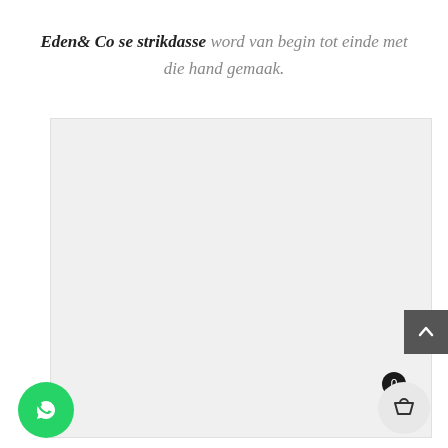Eden& Co se strikdasse word van begin tot einde met die hand gemaak.
[Figure (photo): Large light grey rectangular image placeholder area]